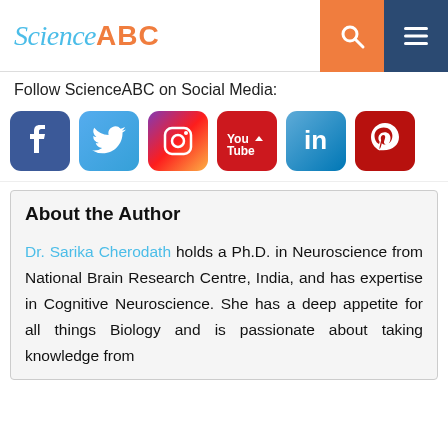Science ABC
Follow ScienceABC on Social Media:
[Figure (infographic): Six social media icons: Facebook (blue), Twitter (light blue), Instagram (purple/orange gradient), YouTube (red), LinkedIn (blue), Pinterest (dark red)]
About the Author
Dr. Sarika Cherodath holds a Ph.D. in Neuroscience from National Brain Research Centre, India, and has expertise in Cognitive Neuroscience. She has a deep appetite for all things Biology and is passionate about taking knowledge from